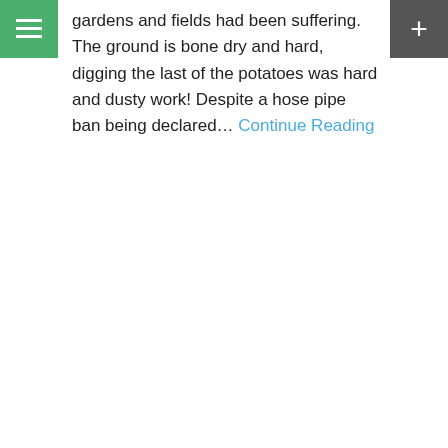gardens and fields had been suffering. The ground is bone dry and hard, digging the last of the potatoes was hard and dusty work! Despite a hose pipe ban being declared… Continue Reading
on Aug 27, 2022
It's been a hot one!
The heat wave predicted on our return to the UK